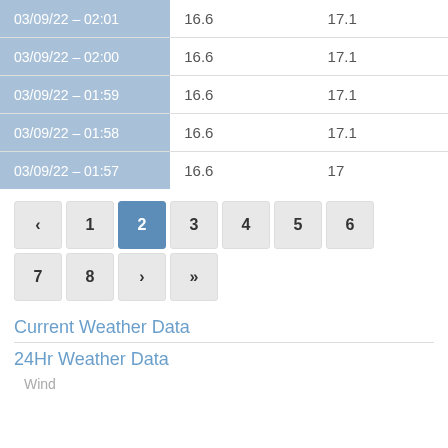| Timestamp | Value1 | Value2 |
| --- | --- | --- |
| 03/09/22 – 02:01 | 16.6 | 17.1 |
| 03/09/22 – 02:00 | 16.6 | 17.1 |
| 03/09/22 – 01:59 | 16.6 | 17.1 |
| 03/09/22 – 01:58 | 16.6 | 17.1 |
| 03/09/22 – 01:57 | 16.6 | 17 |
‹ 1 2 3 4 5 6 7 8 › »
Current Weather Data
24Hr Weather Data
Wind